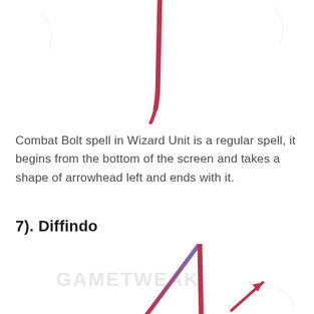[Figure (illustration): Red brush-stroke gesture drawing showing a vertical downward stroke with a hook, resembling a spell gesture for Combat Bolt, partially cut off at the top of the page.]
Combat Bolt spell in Wizard Unit is a regular spell, it begins from the bottom of the screen and takes a shape of arrowhead left and ends with it.
7). Diffindo
[Figure (illustration): Gesture drawing showing two lines: a red/purple diagonal line going up-right to a peak, then a vertical red line going down, with a small red arrow pointing upper-right at the bottom-right. A faint watermark 'GAMETWEAK' is visible in the background.]